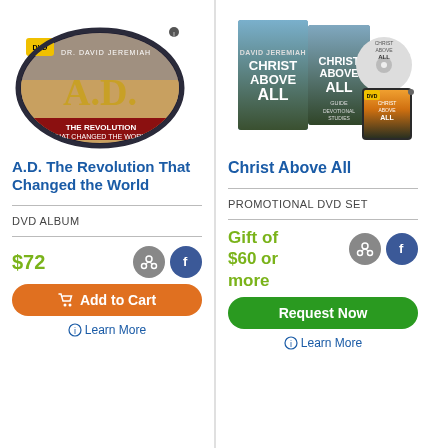[Figure (photo): A.D. The Revolution That Changed the World DVD album in a zippered round case]
A.D. The Revolution That Changed the World
DVD ALBUM
$72
Add to Cart
Learn More
[Figure (photo): Christ Above All product set including books, study guide, and DVD]
Christ Above All
PROMOTIONAL DVD SET
Gift of $60 or more
Request Now
Learn More